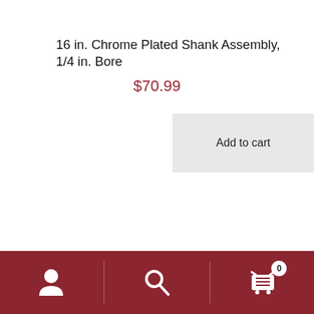16 in. Chrome Plated Shank Assembly, 1/4 in. Bore
$70.99
Add to cart
[Figure (logo): F.H. Steinbart company logo with EST 1918 monogram in dark red/maroon and black bold text]
Navigation bar with user icon, search icon, and cart icon (0 items)